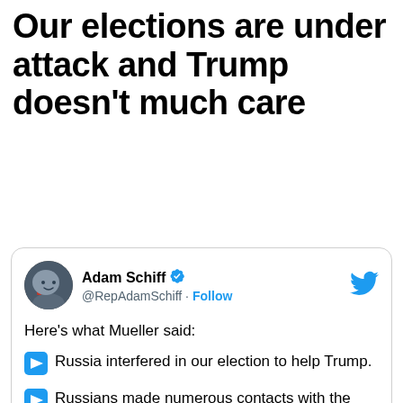Our elections are under attack and Trump doesn't much care
[Figure (screenshot): Tweet from @RepAdamSchiff (Adam Schiff, verified) with blue arrow bullet points listing what Mueller said: Russia interfered in our election to help Trump. Russians made numerous contacts with the campaign. Campaign welcomed their help. No one reported these contacts on (cut off)]
Here's what Mueller said:
Russia interfered in our election to help Trump.
Russians made numerous contacts with the campaign.
Campaign welcomed their help.
No one reported these contacts on